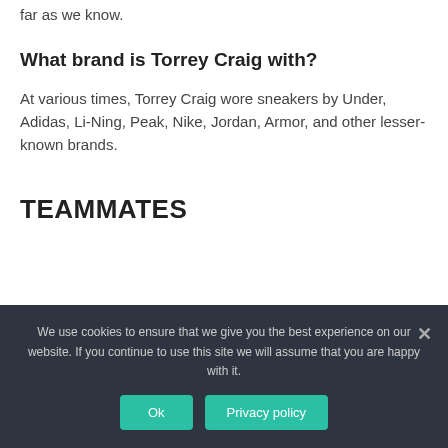No, Torrey Craig doesn't have his own brand of sneakers as far as we know.
What brand is Torrey Craig with?
At various times, Torrey Craig wore sneakers by Under, Adidas, Li-Ning, Peak, Nike, Jordan, Armor, and other lesser-known brands.
TEAMMATES
We use cookies to ensure that we give you the best experience on our website. If you continue to use this site we will assume that you are happy with it.